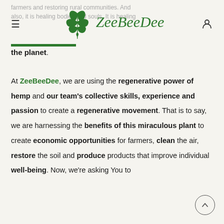ZeeBeeDee [navigation header with logo]
farmers and restoring rural communities. And also, it is healing bodies and souls. It is healing the planet.
At ZeeBeeDee, we are using the regenerative power of hemp and our team's collective skills, experience and passion to create a regenerative movement. That is to say, we are harnessing the benefits of this miraculous plant to create economic opportunities for farmers, clean the air, restore the soil and produce products that improve individual well-being. Now, we're asking You to